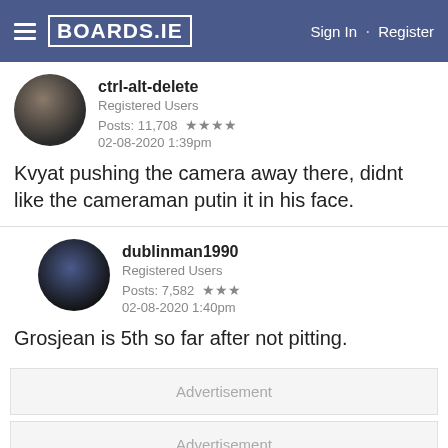BOARDS.IE  Sign In · Register
ctrl-alt-delete
Registered Users
Posts: 11,708 ★★★★
02-08-2020 1:39pm
Kvyat pushing the camera away there, didnt like the cameraman putin it in his face.
dublinman1990
Registered Users
Posts: 7,582 ★★★
02-08-2020 1:40pm
Grosjean is 5th so far after not pitting.
Advertisement
Advertisement